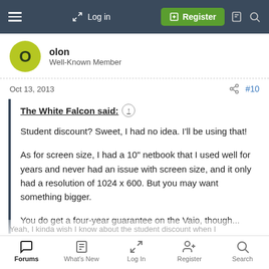Login | Register
olon
Well-Known Member
Oct 13, 2013  #10
The White Falcon said:
Student discount? Sweet, I had no idea. I'll be using that!

As for screen size, I had a 10" netbook that I used well for years and never had an issue with screen size, and it only had a resolution of 1024 x 600. But you may want something bigger.

You do get a four-year guarantee on the Vaio, though...
Forums | What's New | Log In | Register | Search